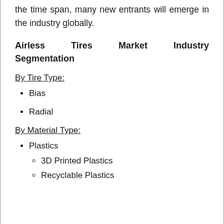the time span, many new entrants will emerge in the industry globally.
Airless Tires Market Industry Segmentation
By Tire Type:
Bias
Radial
By Material Type:
Plastics
3D Printed Plastics
Recyclable Plastics